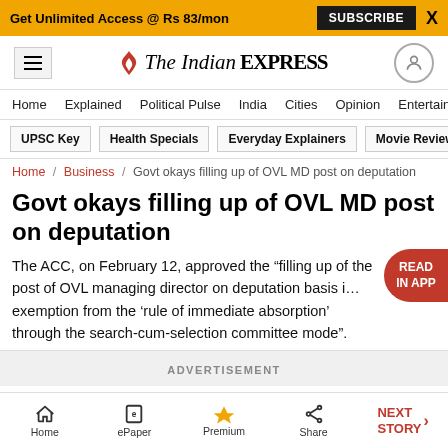Get Unlimited Access @ Rs 83/mon  SUBSCRIBE  X
The Indian EXPRESS
Home  Explained  Political Pulse  India  Cities  Opinion  Entertainment
UPSC Key  Health Specials  Everyday Explainers  Movie Reviews
Home / Business / Govt okays filling up of OVL MD post on deputation
Govt okays filling up of OVL MD post on deputation
The ACC, on February 12, approved the “filling up of the post of OVL managing director on deputation basis i… exemption from the ‘rule of immediate absorption’ through the search-cum-selection committee mode”.
ADVERTISEMENT
Home  ePaper  Premium  Share  NEXT STORY